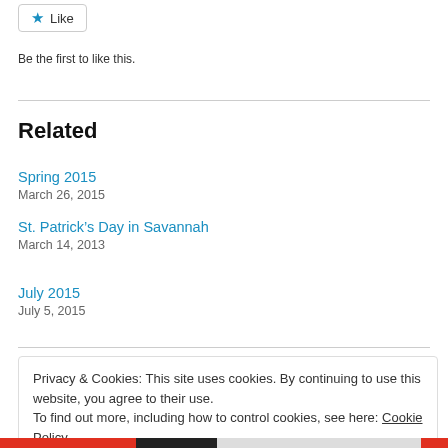Like
Be the first to like this.
Related
Spring 2015
March 26, 2015
St. Patrick's Day in Savannah
March 14, 2013
July 2015
July 5, 2015
Privacy & Cookies: This site uses cookies. By continuing to use this website, you agree to their use.
To find out more, including how to control cookies, see here: Cookie Policy
Close and accept